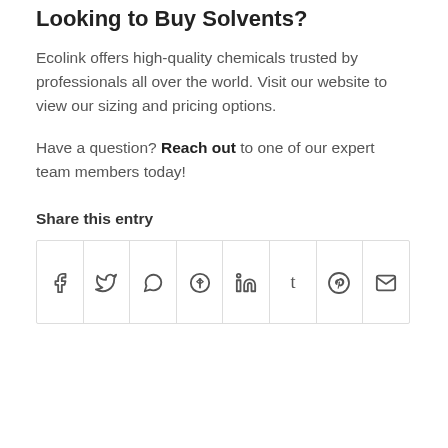Looking to Buy Solvents?
Ecolink offers high-quality chemicals trusted by professionals all over the world. Visit our website to view our sizing and pricing options.
Have a question? Reach out to one of our expert team members today!
Share this entry
[Figure (other): Social share buttons: Facebook, Twitter, WhatsApp, Pinterest, LinkedIn, Tumblr, Reddit, Email]